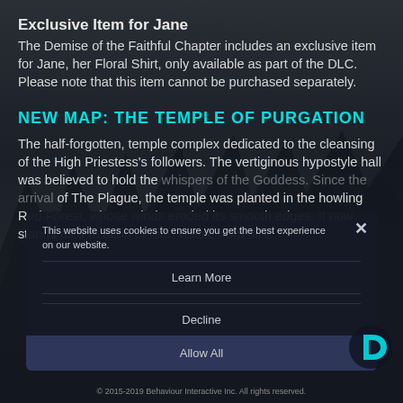Exclusive Item for Jane
The Demise of the Faithful Chapter includes an exclusive item for Jane, her Floral Shirt, only available as part of the DLC. Please note that this item cannot be purchased separately.
NEW MAP: THE TEMPLE OF PURGATION
The half-forgotten, temple complex dedicated to the cleansing of the High Priestess’s followers. The vertiginous hypostyle hall was believed to hold the whispers of the Goddess. Since the arrival of The Plague, the temple was planted in the howling Red Forest, whose winds eroded its smooth edges. It now stands as a beacon of fear, visible from all c
This website uses cookies to ensure you get the best experience on our website.
Learn More
Decline
Allow All
© 2015-2019 Behaviour Interactive Inc. All rights reserved.